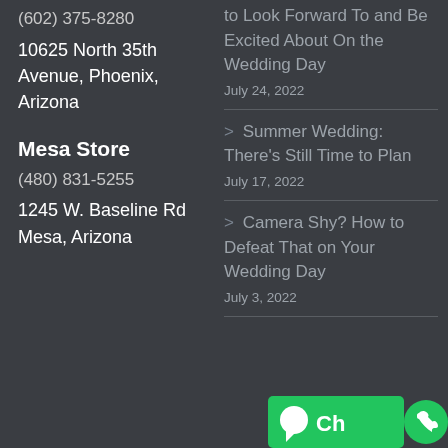(602) 375-8280
10625 North 35th Avenue, Phoenix, Arizona
Mesa Store
(480) 831-5255
1245 W. Baseline Rd Mesa, Arizona
to Look Forward To and Be Excited About On the Wedding Day
July 24, 2022
Summer Wedding: There's Still Time to Plan
July 17, 2022
Camera Shy? How to Defeat That on Your Wedding Day
July 3, 2022
[Figure (other): Green chat/phone button widget at bottom right corner]